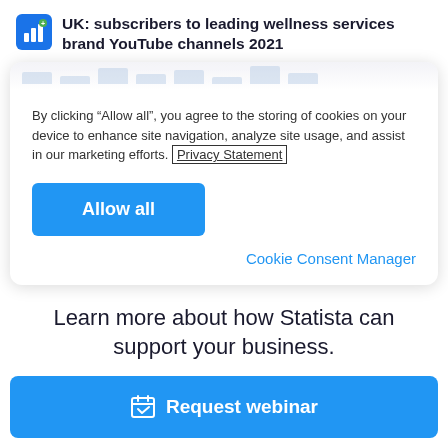UK: subscribers to leading wellness services brand YouTube channels 2021
By clicking “Allow all”, you agree to the storing of cookies on your device to enhance site navigation, analyze site usage, and assist in our marketing efforts. Privacy Statement
Allow all
Cookie Consent Manager
Learn more about how Statista can support your business.
Request webinar